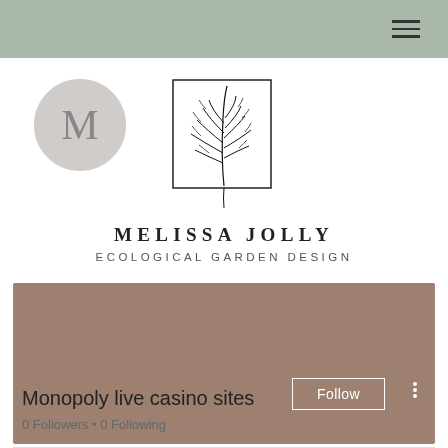Navigation bar with hamburger menu
[Figure (logo): Fern leaf botanical illustration inside a square border, logo for Melissa Jolly Ecological Garden Design]
MELISSA JOLLY
ECOLOGICAL GARDEN DESIGN
[Figure (screenshot): Social media profile card with muted mauve/taupe banner, circular avatar showing letter M, Follow button, and three-dot menu]
Monopoly live casino sites
0 Followers • 0 Following